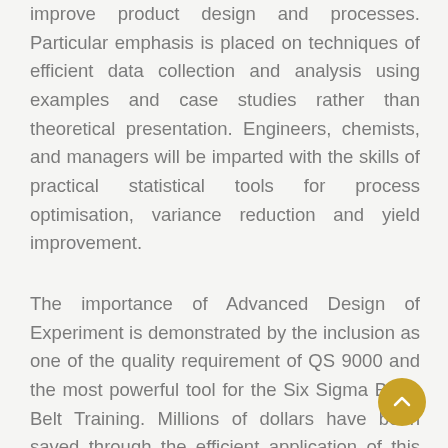improve product design and processes. Particular emphasis is placed on techniques of efficient data collection and analysis using examples and case studies rather than theoretical presentation. Engineers, chemists, and managers will be imparted with the skills of practical statistical tools for process optimisation, variance reduction and yield improvement.
The importance of Advanced Design of Experiment is demonstrated by the inclusion as one of the quality requirement of QS 9000 and the most powerful tool for the Six Sigma Black Belt Training. Millions of dollars have been saved through the efficient application of this tool. This course helps